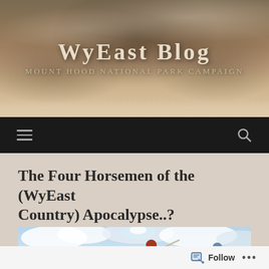WyEast Blog — Mount Hood National Park Campaign
The Four Horsemen of the (WyEast Country) Apocalypse..?
MAY 29, 2020  /  TOM KLOSTER
[Figure (illustration): Painting of the Four Horsemen of the Apocalypse — four figures on horseback amid dramatic clouds and sky, rendered in a classical illustration style]